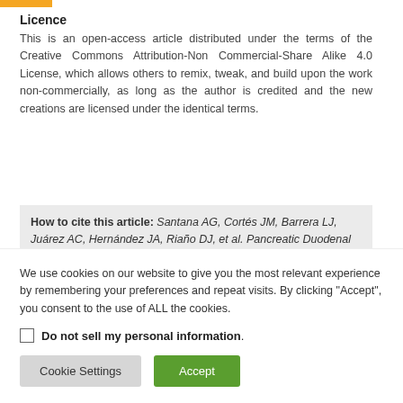Licence
This is an open-access article distributed under the terms of the Creative Commons Attribution-Non Commercial-Share Alike 4.0 License, which allows others to remix, tweak, and build upon the work non-commercially, as long as the author is credited and the new creations are licensed under the identical terms.
How to cite this article: Santana AG, Cortés JM, Barrera LJ, Juárez AC, Hernández JA, Riaño DJ, et al. Pancreatic Duodenal Homeobox Factor-1 and
We use cookies on our website to give you the most relevant experience by remembering your preferences and repeat visits. By clicking "Accept", you consent to the use of ALL the cookies.
Do not sell my personal information.
Cookie Settings
Accept